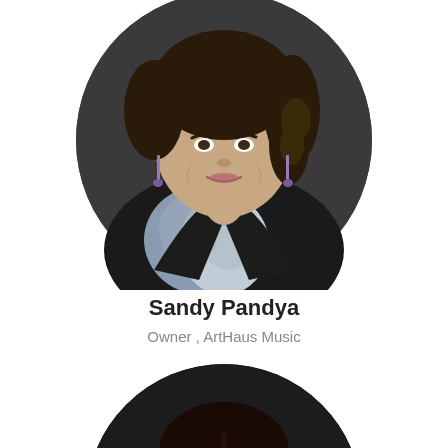[Figure (photo): Circular cropped headshot of Sandy Pandya, a woman with curly dark hair, wearing dangling earrings and a dark blazer over a floral top, photographed against a dark background]
Sandy Pandya
Owner , ArtHaus Music
[Figure (photo): Circular cropped headshot of a woman with straight dark hair, wearing a dark outfit, photographed against a dark background, partially cropped at bottom of page]